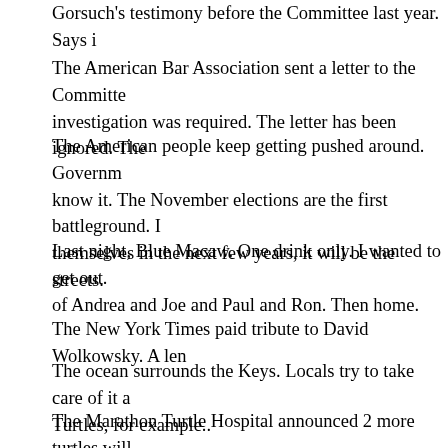Gorsuch's testimony before the Committee last year. Says i
The American Bar Association sent a letter to the Committee investigation was required. The letter has been ignored. The
The American people keep getting pushed around. Governm know it. The November elections are the first battleground. themselves in the next few years, it will be the streets.
Last night, Blue Macaw. One drink only. I wanted to get out. of Andrea and Joe and Paul and Ron. Then home.
The New York Times paid tribute to David Wolkowsky. A leng
The ocean surrounds the Keys. Locals try to take care of it a Turtles, for example..
The Marathon Turtle Hospital announced 2 more turtles will Healthy and fit.  Cafecito at 10 am at Sombrero Beach in Ma